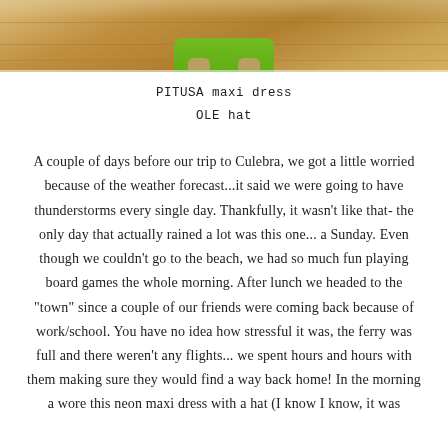[Figure (photo): Top portion of a photo showing wooden floor with a person wearing a green maxi dress, only lower body and feet visible]
PITUSA maxi dress
OLE hat
A couple of days before our trip to Culebra, we got a little worried because of the weather forecast...it said we were going to have thunderstorms every single day. Thankfully, it wasn't like that- the only day that actually rained a lot was this one... a Sunday. Even though we couldn't go to the beach, we had so much fun playing board games the whole morning. After lunch we headed to the "town" since a couple of our friends were coming back because of work/school. You have no idea how stressful it was, the ferry was full and there weren't any flights... we spent hours and hours with them making sure they would find a way back home! In the morning a wore this neon maxi dress with a hat (I know I know, it was